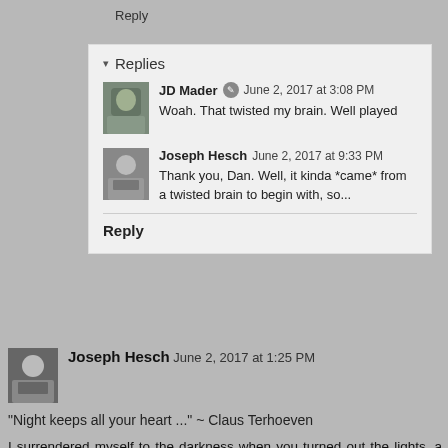Reply
▾ Replies
JD Mader ✎ June 2, 2017 at 3:08 PM
Woah. That twisted my brain. Well played
Joseph Hesch June 2, 2017 at 9:33 PM
Thank you, Dan. Well, it kinda *came* from a twisted brain to begin with, so...
Reply
Joseph Hesch June 2, 2017 at 1:25 PM
"Night keeps all your heart ..." ~ Claus Terhoeven
I surrendered myself to the darkness when you turned out the lights, a willing body and benighted soul wishing to fo...